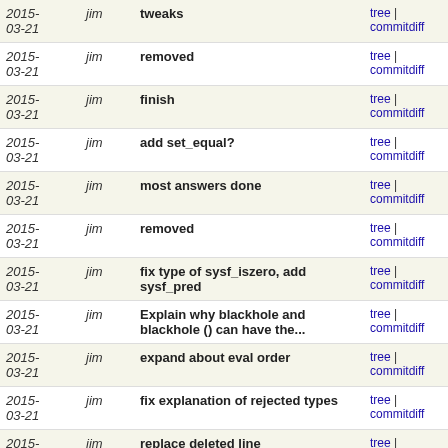| Date | Author | Message | Links |
| --- | --- | --- | --- |
| 2015-03-21 | jim | tweaks | tree | commitdiff |
| 2015-03-21 | jim | removed | tree | commitdiff |
| 2015-03-21 | jim | finish | tree | commitdiff |
| 2015-03-21 | jim | add set_equal? | tree | commitdiff |
| 2015-03-21 | jim | most answers done | tree | commitdiff |
| 2015-03-21 | jim | removed | tree | commitdiff |
| 2015-03-21 | jim | fix type of sysf_iszero, add sysf_pred | tree | commitdiff |
| 2015-03-21 | jim | Explain why blackhole and blackhole () can have the... | tree | commitdiff |
| 2015-03-21 | jim | expand about eval order | tree | commitdiff |
| 2015-03-21 | jim | fix explanation of rejected types | tree | commitdiff |
| 2015-03-21 | jim | replace deleted line | tree | commitdiff |
| 2015-03-21 | jim | replace deleted line | tree | commitdiff |
| 2015-03-21 | jim | tweak | tree | commitdiff |